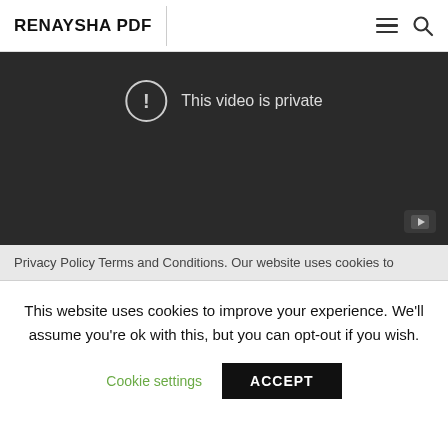RENAYSHA PDF
[Figure (screenshot): Dark video player showing 'This video is private' message with an exclamation mark in a circle icon, and a YouTube play button in the bottom right corner.]
Privacy Policy Terms and Conditions. Our website uses cookies to
This website uses cookies to improve your experience. We'll assume you're ok with this, but you can opt-out if you wish.
Cookie settings   ACCEPT